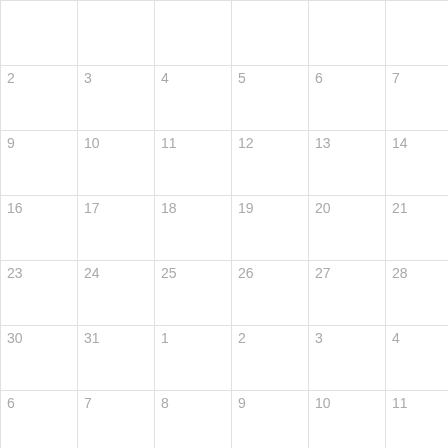|  |  |  |  |  |  |  |
| 2 | 3 | 4 | 5 | 6 | 7 | 8 |
| 9 | 10 | 11 | 12 | 13 | 14 | 15 |
| 16 | 17 | 18 | 19 | 20 | 21 | 22 |
| 23 | 24 | 25 | 26 | 27 | 28 | 29 |
| 30 | 31 | 1 | 2 | 3 | 4 | 5 |
| 6 | 7 | 8 | 9 | 10 | 11 | 12 |
| 13 | 14 | 15 | 16 | 17 | 18 | 19 |